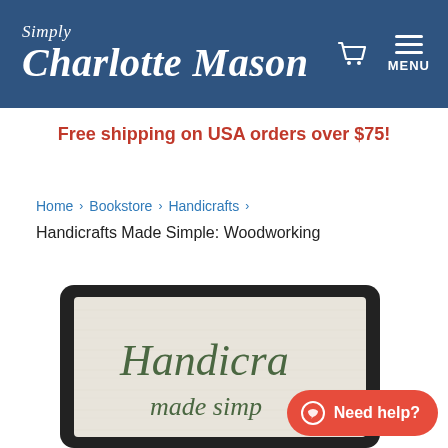Simply Charlotte Mason — MENU
Free shipping on USA orders over $75!
Home › Bookstore › Handicrafts ›
Handicrafts Made Simple: Woodworking
[Figure (screenshot): Bottom portion of a Kindle e-reader device showing the cover of 'Handicrafts made simp...' book on screen, with a red 'Need help?' chat button overlay in the bottom right corner.]